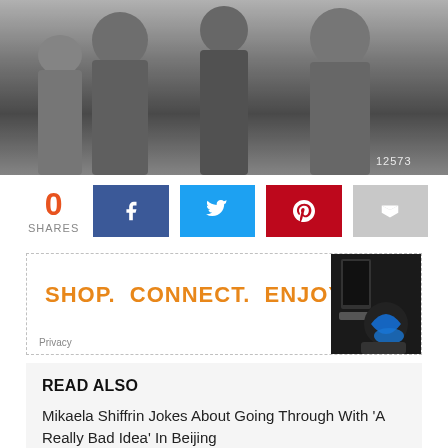[Figure (photo): Black and white historical photo showing people standing, cropped at the torso level. A watermark '12573' visible at bottom right.]
0 SHARES
[Figure (infographic): Advertisement banner with orange text: SHOP. CONNECT. ENJOY. with sports/electronics products image on right side. Privacy link at bottom left.]
READ ALSO
Mikaela Shiffrin Jokes About Going Through With 'A Really Bad Idea' In Beijing